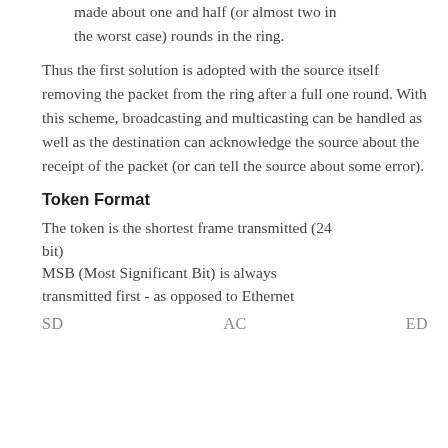made about one and half (or almost two in the worst case) rounds in the ring.
Thus the first solution is adopted with the source itself removing the packet from the ring after a full one round. With this scheme, broadcasting and multicasting can be handled as well as the destination can acknowledge the source about the receipt of the packet (or can tell the source about some error).
Token Format
The token is the shortest frame transmitted (24 bit)
MSB (Most Significant Bit) is always transmitted first - as opposed to Ethernet
SD                    AC                    ED